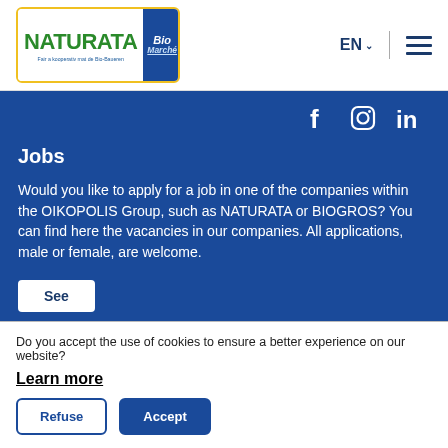[Figure (logo): NATURATA Bio Marché logo with yellow border, green NATURATA text on white background, blue panel with Bio Marché text]
EN
[Figure (illustration): Hamburger menu icon with three horizontal dark blue lines]
[Figure (illustration): Social media icons: Facebook (f), Instagram (camera), LinkedIn (in) in white on blue background]
Jobs
Would you like to apply for a job in one of the companies within the OIKOPOLIS Group, such as NATURATA or BIOGROS? You can find here the vacancies in our companies. All applications, male or female, are welcome.
See
Do you accept the use of cookies to ensure a better experience on our website?
Learn more
Refuse
Accept